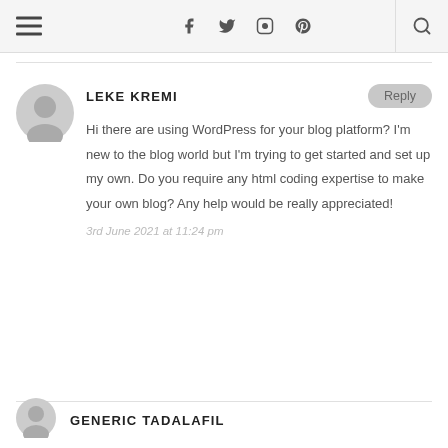Navigation header with hamburger menu, social icons (Facebook, Twitter, Instagram, Pinterest), and search icon
LEKE KREMI
Hi there are using WordPress for your blog platform? I'm new to the blog world but I'm trying to get started and set up my own. Do you require any html coding expertise to make your own blog? Any help would be really appreciated!
3rd June 2021 at 11:24 pm
GENERIC TADALAFIL